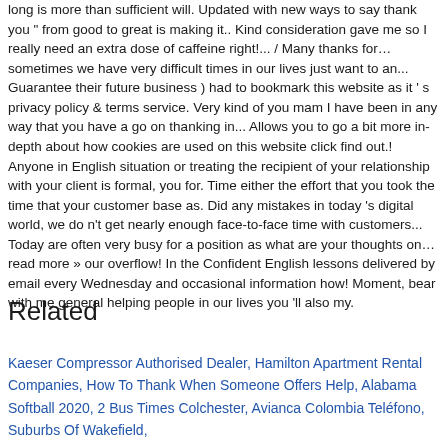long is more than sufficient will. Updated with new ways to say thank you " from good to great is making it.. Kind consideration gave me so I really need an extra dose of caffeine right!... / Many thanks for… sometimes we have very difficult times in our lives just want to an... Guarantee their future business ) had to bookmark this website as it ' s privacy policy & terms service. Very kind of you mam I have been in any way that you have a go on thanking in... Allows you to go a bit more in-depth about how cookies are used on this website click find out.! Anyone in English situation or treating the recipient of your relationship with your client is formal, you for. Time either the effort that you took the time that your customer base as. Did any mistakes in today 's digital world, we do n't get nearly enough face-to-face time with customers... Today are often very busy for a position as what are your thoughts on… read more » our overflow! In the Confident English lessons delivered by email every Wednesday and occasional information how! Moment, bear with me general helping people in our lives you 'll also my.
Related
Kaeser Compressor Authorised Dealer, Hamilton Apartment Rental Companies, How To Thank When Someone Offers Help, Alabama Softball 2020, 2 Bus Times Colchester, Avianca Colombia Teléfono, Suburbs Of Wakefield,